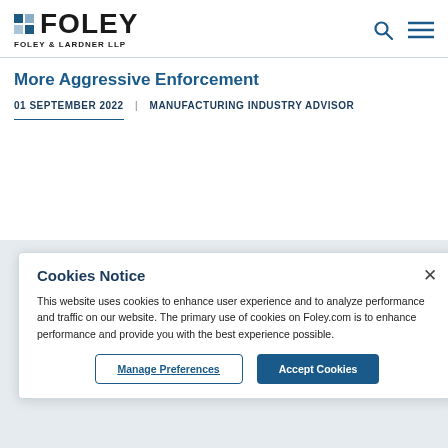FOLEY | FOLEY & LARDNER LLP
More Aggressive Enforcement
01 SEPTEMBER 2022 | MANUFACTURING INDUSTRY ADVISOR
Cookies Notice
This website uses cookies to enhance user experience and to analyze performance and traffic on our website. The primary use of cookies on Foley.com is to enhance performance and provide you with the best experience possible.
Manage Preferences | Accept Cookies